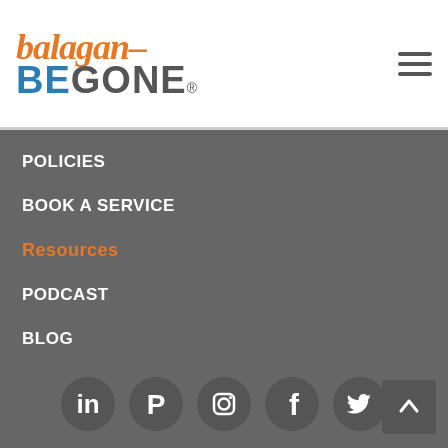[Figure (logo): Balagan Be Gone logo with orange cursive 'balagan' text above blue 'BE' and gray 'GONE' text]
[Figure (other): Hamburger menu icon with three horizontal lines]
POLICIES
BOOK A SERVICE
Resources
PODCAST
BLOG
FACEBOOK GROUP
SHOP
[Figure (other): Social media icons row: LinkedIn, Pinterest, Instagram, Facebook, Twitter — white icons on dark gray circles]